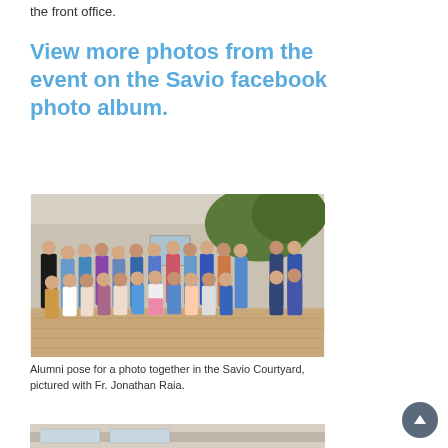the front office.
View more photos from the event on the Savio facebook photo album.
[Figure (photo): Group photo of alumni posing together in the Savio Courtyard with Fr. Jonathan Raia. People are seated and standing in rows in front of a stone building with trees in background.]
Alumni pose for a photo together in the Savio Courtyard, pictured with Fr. Jonathan Raia.
[Figure (photo): Partial view of an interior room, likely at Savio school.]